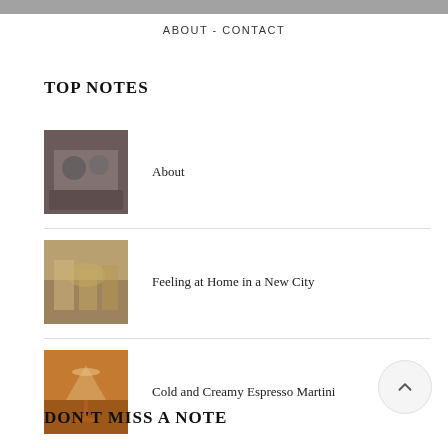[Figure (photo): Top cropped photo strip, grayscale]
ABOUT - CONTACT
TOP NOTES
About
Feeling at Home in a New City
Cold and Creamy Espresso Martini
DON'T MISS A NOTE